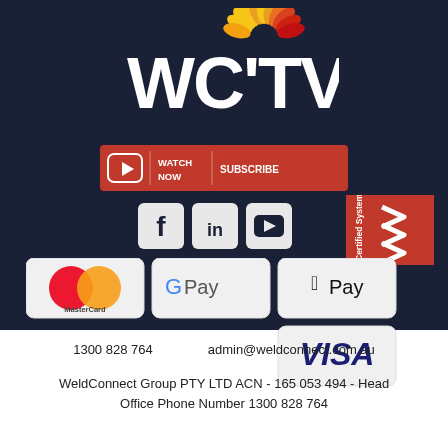[Figure (logo): WCTV logo with sunflower/sunburst petals in yellow, orange and red above white bold text WCTV on dark navy background]
[Figure (infographic): Red YouTube-style bar with YouTube play icon, WATCH NOW text, separator, and SUBSCRIBE text]
[Figure (infographic): Three social media icons: Facebook (f), LinkedIn (in), YouTube play button, white on light grey rounded squares]
[Figure (logo): ISO 9001 Certified System badge - red rectangle with white chevron marks and text, Quality ISO 9001 below in white]
[Figure (infographic): Payment method logos: MasterCard (red/orange circles), Google Pay, Apple Pay, Visa - displayed as cards on grey rounded rectangles]
1300 828 764    admin@weldconnect.com.au
WeldConnect Group PTY LTD ACN - 165 053 494 - Head Office Phone Number 1300 828 764